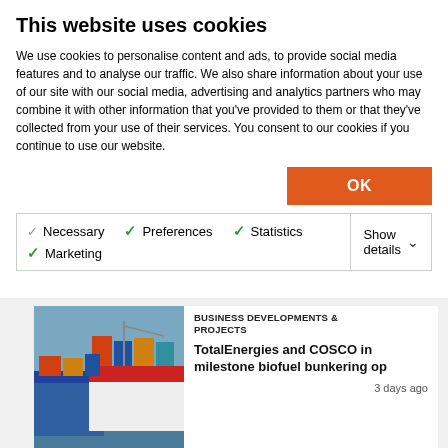This website uses cookies
We use cookies to personalise content and ads, to provide social media features and to analyse our traffic. We also share information about your use of our site with our social media, advertising and analytics partners who may combine it with other information that you've provided to them or that they've collected from your use of their services. You consent to our cookies if you continue to use our website.
OK
Necessary  Preferences  Statistics  Marketing  Show details
BUSINESS DEVELOPMENTS & PROJECTS
TotalEnergies and COSCO in milestone biofuel bunkering op
3 days ago
Premium
BUSINESS DEVELOPMENTS &